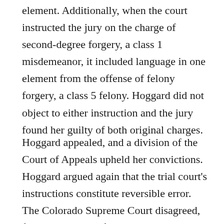element. Additionally, when the court instructed the jury on the charge of second-degree forgery, a class 1 misdemeanor, it included language in one element from the offense of felony forgery, a class 5 felony. Hoggard did not object to either instruction and the jury found her guilty of both original charges.
Hoggard appealed, and a division of the Court of Appeals upheld her convictions. Hoggard argued again that the trial court's instructions constitute reversible error. The Colorado Supreme Court disagreed, finding that even if the instruction on attempt to influence a public servant was erroneous, any error was not plain. Second, the